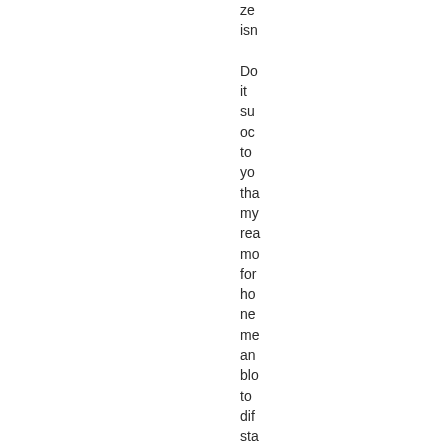ze
isn

Do
it
su
oc
to
yo
tha
my
rea
mo
for
ho
ne
me
an
blo
to
dif
sta
ma
be
tha
I
ho
like
Pr
Ba
an
lov
to
sta
co